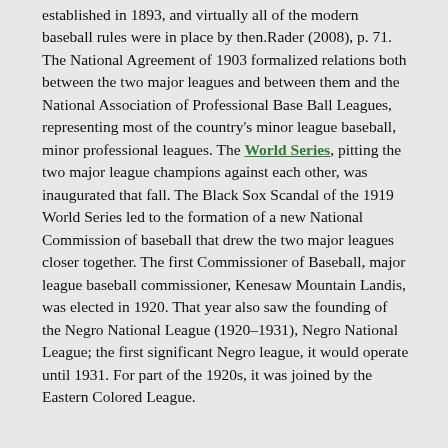established in 1893, and virtually all of the modern baseball rules were in place by then.Rader (2008), p. 71. The National Agreement of 1903 formalized relations both between the two major leagues and between them and the National Association of Professional Base Ball Leagues, representing most of the country's minor league baseball, minor professional leagues. The World Series, pitting the two major league champions against each other, was inaugurated that fall. The Black Sox Scandal of the 1919 World Series led to the formation of a new National Commission of baseball that drew the two major leagues closer together. The first Commissioner of Baseball, major league baseball commissioner, Kenesaw Mountain Landis, was elected in 1920. That year also saw the founding of the Negro National League (1920–1931), Negro National League; the first significant Negro league, it would operate until 1931. For part of the 1920s, it was joined by the Eastern Colored League.
Rise of Ruth and racial integration
Compared with the present, professional baseball in the